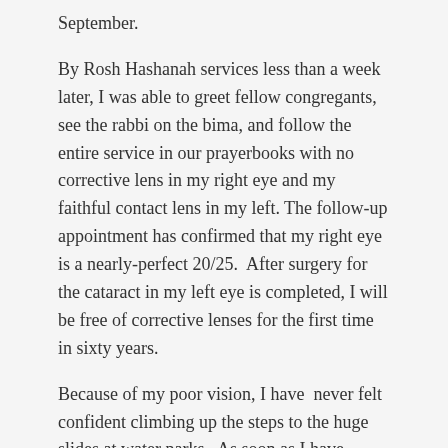September.
By Rosh Hashanah services less than a week later, I was able to greet fellow congregants, see the rabbi on the bima, and follow the entire service in our prayerbooks with no corrective lens in my right eye and my faithful contact lens in my left. The follow-up appointment has confirmed that my right eye is a nearly-perfect 20/25.  After surgery for the cataract in my left eye is completed, I will be free of corrective lenses for the first time in sixty years.
Because of my poor vision, I have  never felt confident climbing up the steps to the huge slides at water parks   As soon as I have medical clearance, however, a  friend and I are heading to Wet 'n Wild in Orlando.  Who knows what's next? Sky diving?  Why not? I can see clearly now. Wheeeee!
This entry was posted in Health, Parenting on November 11, 2016.